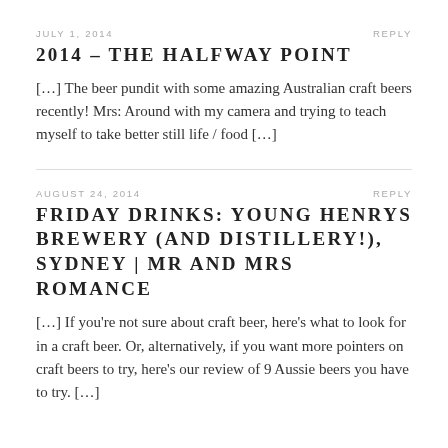JULY 1, 2014    REPLY
2014 – THE HALFWAY POINT
[…] The beer pundit with some amazing Australian craft beers recently! Mrs: Around with my camera and trying to teach myself to take better still life / food […]
AUGUST 24, 2014    REPLY
FRIDAY DRINKS: YOUNG HENRYS BREWERY (AND DISTILLERY!), SYDNEY | MR AND MRS ROMANCE
[…] If you're not sure about craft beer, here's what to look for in a craft beer. Or, alternatively, if you want more pointers on craft beers to try, here's our review of 9 Aussie beers you have to try. […]